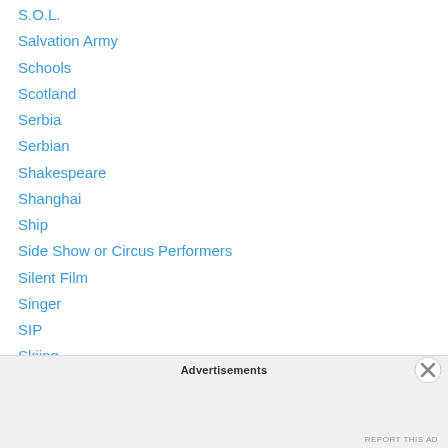S.O.L.
Salvation Army
Schools
Scotland
Serbia
Serbian
Shakespeare
Shanghai
Ship
Side Show or Circus Performers
Silent Film
Singer
SIP
Skiing
Slovenia
Snapshot
Snow
Advertisements
REPORT THIS AD